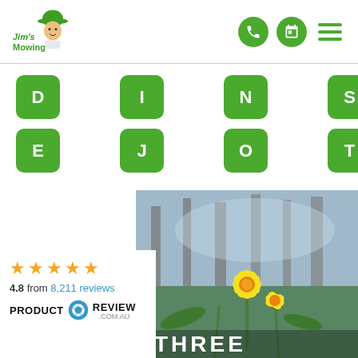[Figure (logo): Jim's Mowing logo with cartoon man in green hat and text 'Jim's Mowing' in green]
[Figure (infographic): Navigation icons: phone (green circle), calendar (green circle), hamburger menu (green lines)]
[Figure (infographic): Alphabet letter navigation buttons in green rounded squares: D, I, N, S, X in first row; E, J, O, T, Y in second row]
[Figure (photo): Photo of yellow daffodil flowers with blurred trees in background, with text 'THREE' overlaid at bottom]
4.8 from 8,211 reviews
[Figure (logo): Product Review .com.au logo with star rating 4.8 from 8,211 reviews]